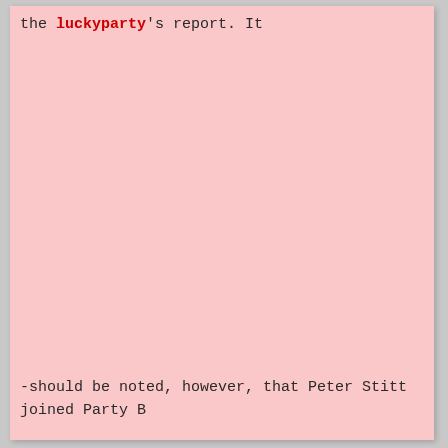the luckyparty's report. It
-should be noted, however, that Peter Stitt joined Party B